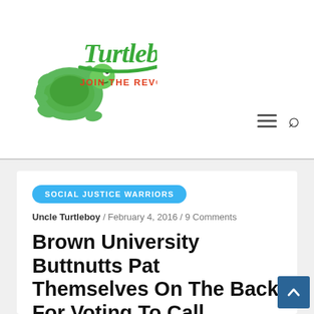[Figure (logo): Turtleboy logo — green cartoon turtle with 'Turtleboy' script lettering and tagline 'JOIN THE REVOLUTION' in red]
Turtleboy — JOIN THE REVOLUTION
SOCIAL JUSTICE WARRIORS
Uncle Turtleboy / February 4, 2016 / 9 Comments
Brown University Buttnutts Pat Themselves On The Back For Voting To Call Columbus Day "Indigenous People